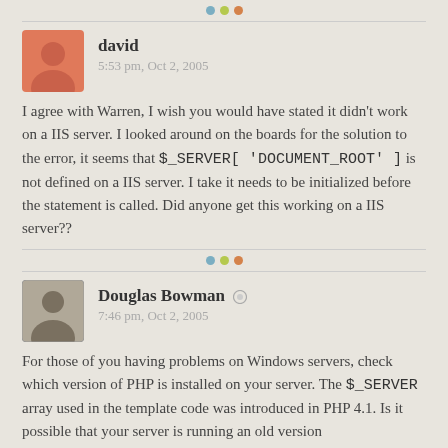[Figure (other): Three colored dots divider (blue, green, orange)]
david
5:53 pm, Oct 2, 2005
I agree with Warren, I wish you would have stated it didn't work on a IIS server. I looked around on the boards for the solution to the error, it seems that $_SERVER['DOCUMENT_ROOT'] is not defined on a IIS server. I take it needs to be initialized before the statement is called. Did anyone get this working on a IIS server??
[Figure (other): Three colored dots divider (blue, green, orange)]
Douglas Bowman
7:46 pm, Oct 2, 2005
For those of you having problems on Windows servers, check which version of PHP is installed on your server. The $_SERVER array used in the template code was introduced in PHP 4.1. Is it possible that your server is running an old version